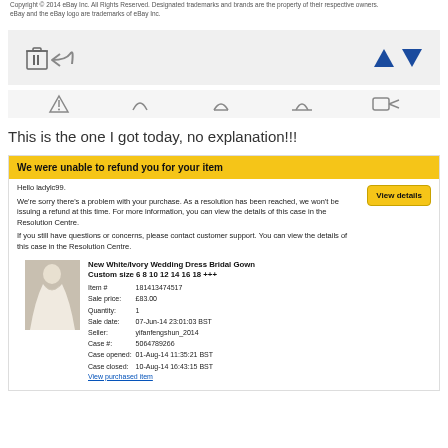Copyright © 2014 eBay Inc. All Rights Reserved. Designated trademarks and brands are the property of their respective owners. eBay and the eBay logo are trademarks of eBay Inc.
[Figure (screenshot): Toolbar with trash icon, reply/undo icon, and blue up/down triangle arrows on grey background]
[Figure (screenshot): Second toolbar with multiple grey navigation/action icons]
This is the one I got today, no explanation!!!
We were unable to refund you for your item
Hello ladylc99.
We're sorry there's a problem with your purchase. As a resolution has been reached, we won't be issuing a refund at this time. For more information, you can view the details of this case in the Resolution Centre.
If you still have questions or concerns, please contact customer support. You can view the details of this case in the Resolution Centre.
| Item # | 181413474517 |
| Sale price: | £83.00 |
| Quantity: | 1 |
| Sale date: | 07-Jun-14 23:01:03 BST |
| Seller: | yifanfengshun_2014 |
| Case #: | 5064789266 |
| Case opened: | 01-Aug-14 11:35:21 BST |
| Case closed: | 10-Aug-14 16:43:15 BST |
View purchased item